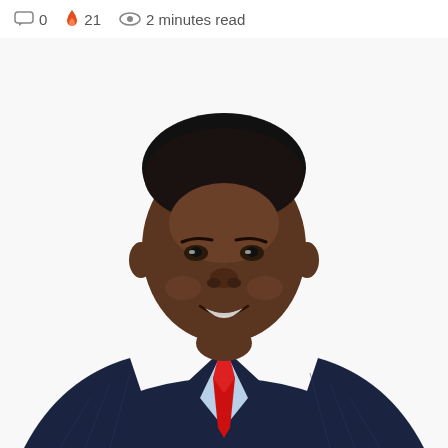0  21  2 minutes read
[Figure (photo): Portrait photo of a man wearing a dark navy pinstripe suit, light blue dress shirt, and red tie, smiling, on a white background.]